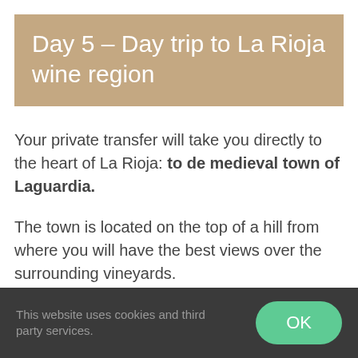Day 5 – Day trip to La Rioja wine region
Your private transfer will take you directly to the heart of La Rioja: to de medieval town of Laguardia.
The town is located on the top of a hill from where you will have the best views over the surrounding vineyards.
Laguardia has preserved the medieval taste on
This website uses cookies and third party services. OK